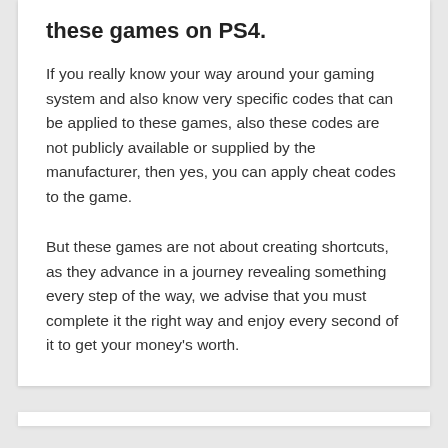these games on PS4.
If you really know your way around your gaming system and also know very specific codes that can be applied to these games, also these codes are not publicly available or supplied by the manufacturer, then yes, you can apply cheat codes to the game.
But these games are not about creating shortcuts, as they advance in a journey revealing something every step of the way, we advise that you must complete it the right way and enjoy every second of it to get your money's worth.